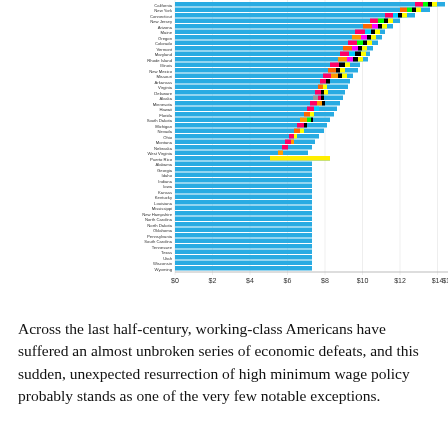[Figure (stacked-bar-chart): Horizontal stacked bar chart showing minimum wage rates across US states and territories, with bars extending from $0 to approximately $16. States with higher minimum wages (California, New York, Connecticut, New Jersey) appear at top with longer bars including colorful stacked segments. Many states at bottom show only the federal minimum in solid blue.]
Across the last half-century, working-class Americans have suffered an almost unbroken series of economic defeats, and this sudden, unexpected resurrection of high minimum wage policy probably stands as one of the very few notable exceptions.